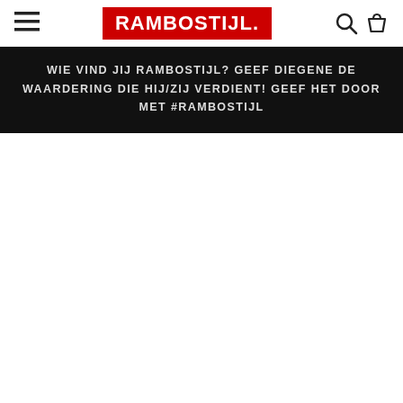RAMBOSTIJL. (navigation header with hamburger menu, logo, search and cart icons)
WIE VIND JIJ RAMBOSTIJL? GEEF DIEGENE DE WAARDERING DIE HIJ/ZIJ VERDIENT! GEEF HET DOOR MET #RAMBOSTIJL